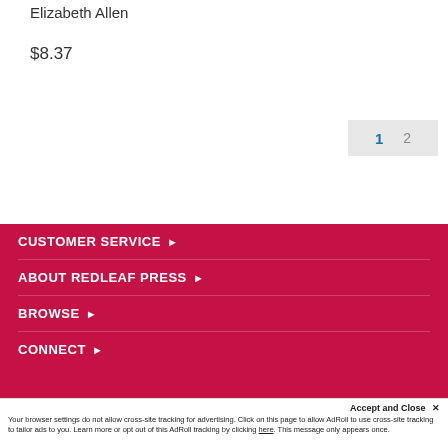Elizabeth Allen
$8.37
1  2
CUSTOMER SERVICE ▶
ABOUT REDLEAF PRESS ▶
BROWSE ▶
CONNECT ▶
Accept and Close ✕
Your browser settings do not allow cross-site tracking for advertising. Click on this page to allow AdRoll to use cross-site tracking to tailor ads to you. Learn more or opt out of this AdRoll tracking by clicking here. This message only appears once.